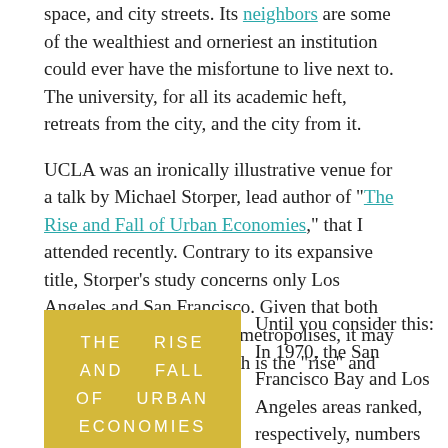space, and city streets. Its neighbors are some of the wealthiest and orneriest an institution could ever have the misfortune to live next to. The university, for all its academic heft, retreats from the city, and the city from it.
UCLA was an ironically illustrative venue for a talk by Michael Storper, lead author of "The Rise and Fall of Urban Economies," that I attended recently. Contrary to its expansive title, Storper's study concerns only Los Angeles and San Francisco. Given that both are booming Pacific Rim metropolises, it may be hard to figure out which is the "rise" and which is the "fall."
[Figure (illustration): Book cover with gold/yellow background showing the title 'THE RISE AND FALL OF URBAN ECONOMIES' in white spaced-out letters]
Until you consider this: In 1970, the San Francisco Bay and Los Angeles areas ranked, respectively, numbers four and one in per